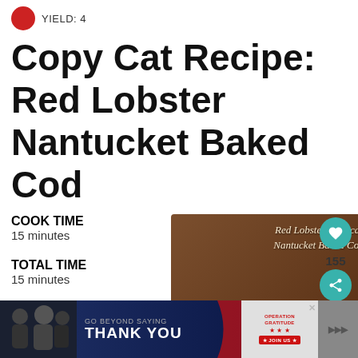YIELD: 4
Copy Cat Recipe: Red Lobster Nantucket Baked Cod
COOK TIME
15 minutes
TOTAL TIME
15 minutes
[Figure (photo): Photo of Red Lobster Copycat Nantucket Baked Cod dish on a plate with tomatoes and garnish, with a brown textured background. Text overlay reads 'Red Lobster Copycat Nantucket Baked Cod'. UI elements include a heart/save button showing 155, a share button, and a 'What's Next' panel for Red Lobster Copy Cat...]
[Figure (photo): Advertisement banner: 'GO BEYOND SAYING THANK YOU' with Operation Gratitude logo and JOIN US button]